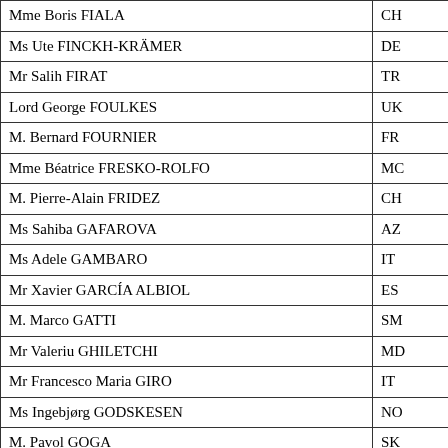| Name | Country |
| --- | --- |
| Mme Boris FIALA (partial) | CH (partial) |
| Ms Ute FINCKH-KRÄMER | DE |
| Mr Salih FIRAT | TR |
| Lord George FOULKES | UK |
| M. Bernard FOURNIER | FR |
| Mme Béatrice FRESKO-ROLFO | MC |
| M. Pierre-Alain FRIDEZ | CH |
| Ms Sahiba GAFAROVA | AZ |
| Ms Adele GAMBARO | IT |
| Mr Xavier GARCÍA ALBIOL | ES |
| M. Marco GATTI | SM |
| Mr Valeriu GHILETCHI | MD |
| Mr Francesco Maria GIRO | IT |
| Ms Ingebjørg GODSKESEN | NO |
| M. Pavol GOGA | SK |
| M. Carlos Alberto GONÇALVES | PT |
| Mr Oleksii GONCHARENKO | UA |